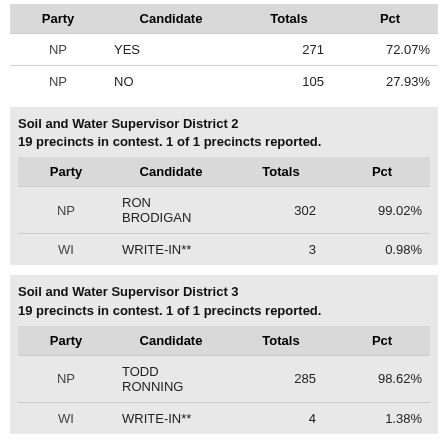| Party | Candidate | Totals | Pct |
| --- | --- | --- | --- |
| NP | YES | 271 | 72.07% |
| NP | NO | 105 | 27.93% |
Soil and Water Supervisor District 2
19 precincts in contest. 1 of 1 precincts reported.
| Party | Candidate | Totals | Pct |
| --- | --- | --- | --- |
| NP | RON BRODIGAN | 302 | 99.02% |
| WI | WRITE-IN** | 3 | 0.98% |
Soil and Water Supervisor District 3
19 precincts in contest. 1 of 1 precincts reported.
| Party | Candidate | Totals | Pct |
| --- | --- | --- | --- |
| NP | TODD RONNING | 285 | 98.62% |
| WI | WRITE-IN** | 4 | 1.38% |